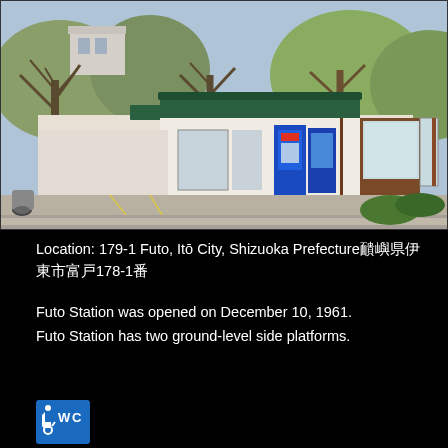[Figure (photo): Exterior photo of Futo Station, a small Japanese railway station building with a green roof, surrounded by bare trees. Vending machines and information boards are visible in front. A scooter is parked on the left. The station has a parking area in the foreground.]
Location: 179-1 Futo, Itō City, Shizuoka Prefecture静岡県伊東市富戸178-1番
Futo Station was opened on December 10, 1961.
Futo Station has two ground-level side platforms.
[Figure (infographic): Accessibility icons: wheelchair symbol and WC (toilet) symbol in a blue square badge]